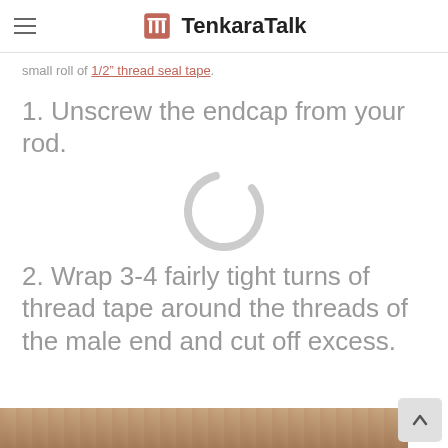TenkaraTalk
small roll of 1/2” thread seal tape.
1. Unscrew the endcap from your rod.
[Figure (other): Loading spinner circle graphic]
2. Wrap 3-4 fairly tight turns of thread tape around the threads of the male end and cut off excess.
[Figure (photo): Partial photo of wooden surface at the bottom of the page]